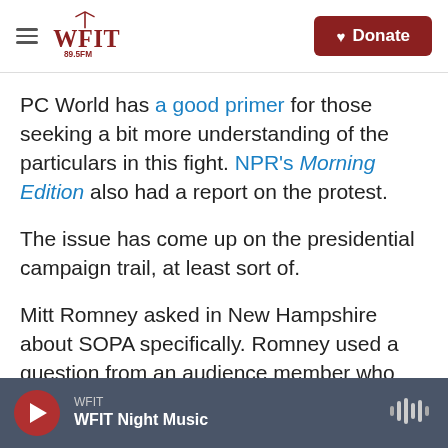WFIT 89.5FM — Donate
PC World has a good primer for those seeking a bit more understanding of the particulars in this fight. NPR's Morning Edition also had a report on the protest.
The issue has come up on the presidential campaign trail, at least sort of.
Mitt Romney asked in New Hampshire about SOPA specifically. Romney used a question from an audience member who asked the candidate where he stood on SOPA to go on a tear about regulations
WFIT — WFIT Night Music